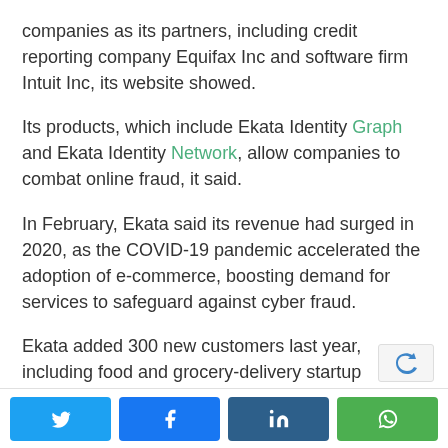companies as its partners, including credit reporting company Equifax Inc and software firm Intuit Inc, its website showed.
Its products, which include Ekata Identity Graph and Ekata Identity Network, allow companies to combat online fraud, it said.
In February, Ekata said its revenue had surged in 2020, as the COVID-19 pandemic accelerated the adoption of e-commerce, boosting demand for services to safeguard against cyber fraud.
Ekata added 300 new customers last year, including food and grocery-delivery startup Postmates, which was acquired by Uber Technologies last year. (https://bwnews.pr/32qaUG7)
[Figure (other): Social media share buttons: Twitter (blue), Facebook (blue), LinkedIn (dark blue), WhatsApp (green)]